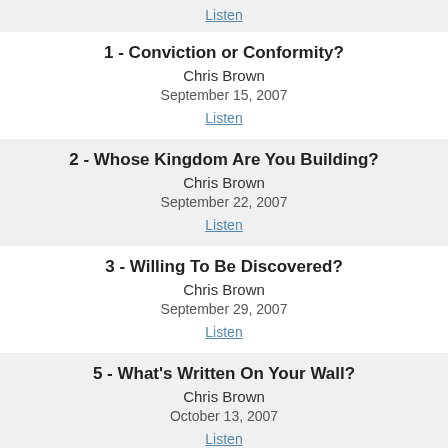Listen
1 - Conviction or Conformity?
Chris Brown
September 15, 2007
Listen
2 - Whose Kingdom Are You Building?
Chris Brown
September 22, 2007
Listen
3 - Willing To Be Discovered?
Chris Brown
September 29, 2007
Listen
5 - What's Written On Your Wall?
Chris Brown
October 13, 2007
Listen